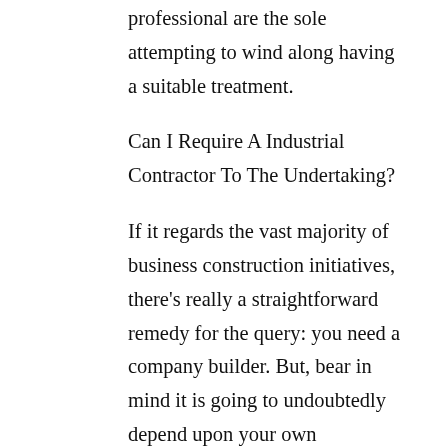professional are the sole attempting to wind along having a suitable treatment.
Can I Require A Industrial Contractor To The Undertaking?
If it regards the vast majority of business construction initiatives, there's really a straightforward remedy for the query: you need a company builder. But, bear in mind it is going to undoubtedly depend upon your own assortment of job.
The law demands the vast majority of building tasks, equally land and industrial, to